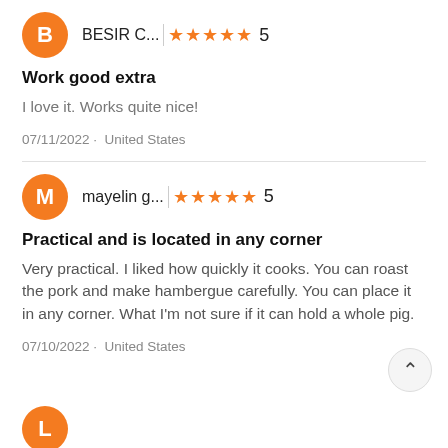BESIR C... | ★★★★★ 5
Work good extra
I love it. Works quite nice!
07/11/2022 · United States
mayelin g... | ★★★★★ 5
Practical and is located in any corner
Very practical. I liked how quickly it cooks. You can roast the pork and make hambergue carefully. You can place it in any corner. What I'm not sure if it can hold a whole pig.
07/10/2022 · United States